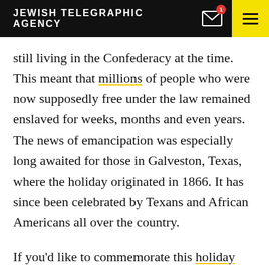JEWISH TELEGRAPHIC AGENCY
still living in the Confederacy at the time. This meant that millions of people who were now supposedly free under the law remained enslaved for weeks, months and even years. The news of emancipation was especially long awaited for those in Galveston, Texas, where the holiday originated in 1866. It has since been celebrated by Texans and African Americans all over the country.
If you'd like to commemorate this holiday through a Jewish lens, here are seven events that you and your family can attend or stream online.